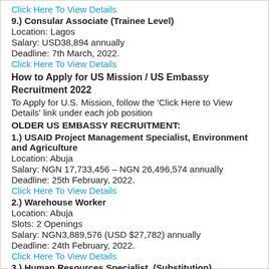Click Here To View Details
9.) Consular Associate (Trainee Level)
Location: Lagos
Salary: USD38,894 annually
Deadline: 7th March, 2022.
Click Here To View Details
How to Apply for US Mission / US Embassy Recruitment 2022
To Apply for U.S. Mission, follow the 'Click Here to View Details' link under each job position
OLDER US EMBASSY RECRUITMENT:
1.) USAID Project Management Specialist, Environment and Agriculture
Location: Abuja
Salary: NGN 17,733,456 – NGN 26,496,574 annually
Deadline: 25th February, 2022.
Click Here To View Details
2.) Warehouse Worker
Location: Abuja
Slots: 2 Openings
Salary: NGN3,889,576 (USD $27,782) annually
Deadline: 24th February, 2022.
Click Here To View Details
3.) Human Resources Specialist  (Substitution)